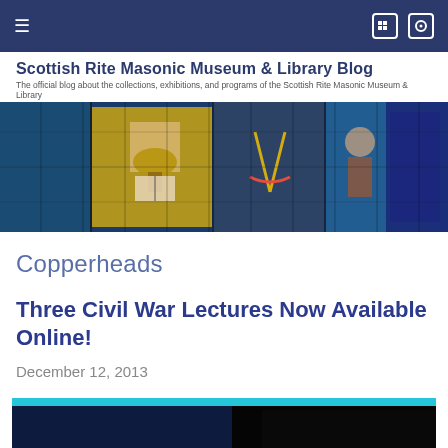Scottish Rite Masonic Museum & Library Blog — The official blog about the collections, exhibitions, and programs of the Scottish Rite Masonic Museum & Library
[Figure (photo): Stained glass window banner image featuring Masonic symbols including a lamp, open book, compass and square, and other emblems on a colorful stained glass background]
Copperheads
Three Civil War Lectures Now Available Online!
December 12, 2013
[Figure (photo): Partial thumbnail image showing a teal/cyan bar at top and dark background below, appears to be a video or lecture screenshot]